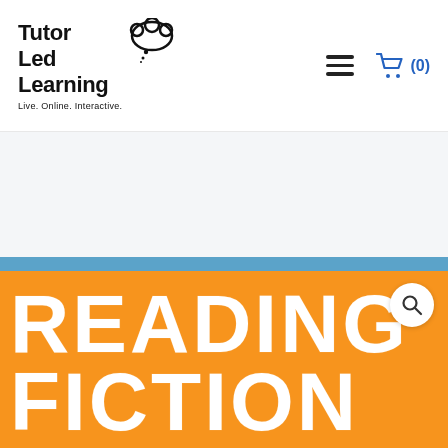[Figure (logo): Tutor Led Learning logo with thought bubble cloud icon and tagline 'Live. Online. Interactive.']
[Figure (other): Hamburger menu icon (three horizontal lines)]
[Figure (other): Shopping cart icon with (0) count in blue]
[Figure (other): Orange banner section with large white bold text 'READING FICTION' on orange background with blue top bar, and a search magnifier icon button]
READING FICTION